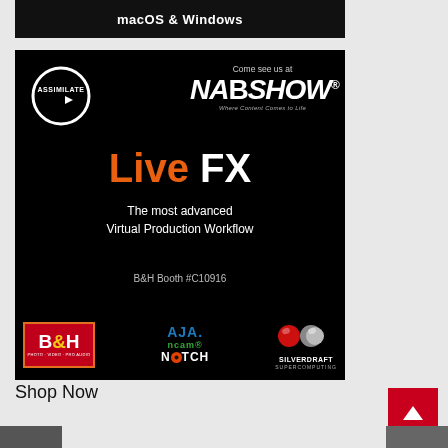[Figure (photo): Top black banner showing 'macOS & Windows' text in white]
[Figure (photo): Assimilate advertisement on black background. Features Assimilate logo (white circle), NAB Show logo, 'Live FX' headline in orange and white, 'The most advanced Virtual Production Workflow', 'B&H Booth #C10916', and partner logos: B&H, AJA, nCAM, NOTCH, SilverDraft Supercomputing]
Shop Now
[Figure (other): Red back-to-top arrow button in bottom right corner]
[Figure (photo): Partial thumbnail images at bottom of page]